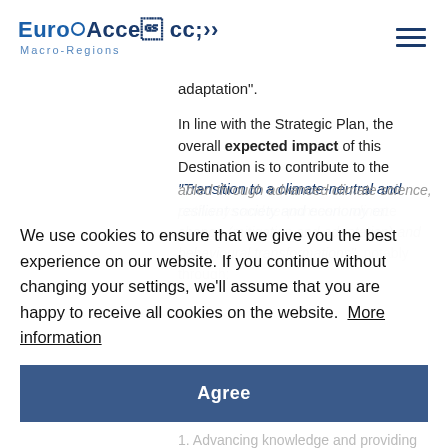EuroAccess Macro-Regions
adaptation”.
In line with the Strategic Plan, the overall expected impact of this Destination is to contribute to the “Transition to a climate-neutral and resilient society and economy enabled through advanced climate science, pathways and responses to climate change (mitigation and adaptation) and behavioural transformations”, notably through:
We use cookies to ensure that we give you the best experience on our website. If you continue without changing your settings, we’ll assume that you are happy to receive all cookies on the website. More information
Agree
1. Advancing knowledge and providing solutions in the any of following areas: Earth system science; pathways to climate neutrality; climate change